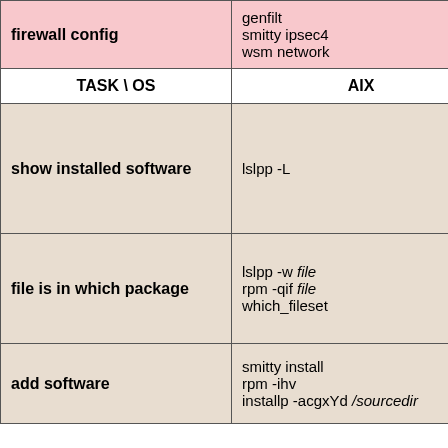| TASK \ OS | AIX |
| --- | --- |
| firewall config | genfilt
smitty ipsec4
wsm network |
| show installed software | lslpp -L |
| file is in which package | lslpp -w file
rpm -qif file
which_fileset |
| add software | smitty install
rpm -ihv
installp -acgxYd /sourcedir |